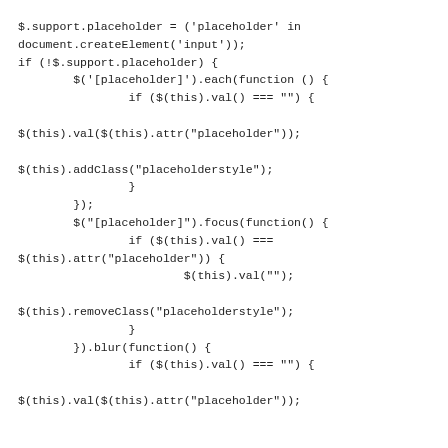$.support.placeholder = ('placeholder' in
document.createElement('input'));
if (!$.support.placeholder) {
        $('[placeholder]').each(function () {
                if ($(this).val() === "") {

$(this).val($(this).attr("placeholder"));

$(this).addClass("placeholderstyle");
                }
        });
        $("[placeholder]").focus(function() {
                if ($(this).val() ===
$(this).attr("placeholder")) {
                        $(this).val("");

$(this).removeClass("placeholderstyle");
                }
        }).blur(function() {
                if ($(this).val() === "") {

$(this).val($(this).attr("placeholder"));